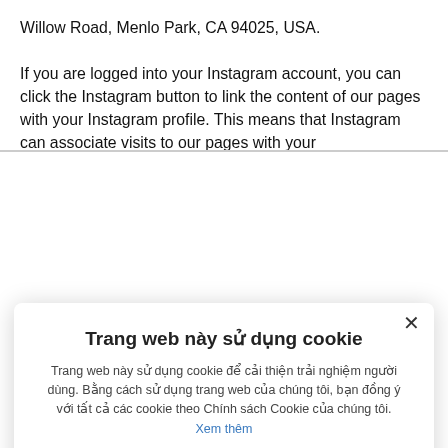Willow Road, Menlo Park, CA 94025, USA.

If you are logged into your Instagram account, you can click the Instagram button to link the content of our pages with your Instagram profile. This means that Instagram can associate visits to our pages with your
[Figure (screenshot): Cookie consent modal dialog in Vietnamese. Title: 'Trang web này sử dụng cookie'. Body text explains cookies improve user experience. Checkboxes for: THỰC SỰ CẦN THIẾT (checked), HIỆU SUẤT (unchecked), ĐỊNH MỤC TIÊU (unchecked), CHỨC NĂNG (unchecked). Buttons: CHẤP NHẬN TẤT CẢ (dark blue), TỪ CHỐI TẤT CẢ (red/pink). Link: Xem thêm. Gear icon with HIỂN THỊ CHI TIẾT.]